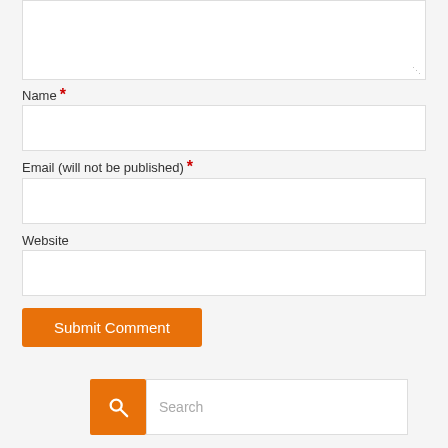[Figure (screenshot): Textarea input box, partially visible at top of page]
Name *
[Figure (screenshot): Name text input field]
Email (will not be published) *
[Figure (screenshot): Email text input field]
Website
[Figure (screenshot): Website text input field]
[Figure (screenshot): Submit Comment button (orange)]
[Figure (screenshot): Search bar with orange magnifying glass icon and search input field]